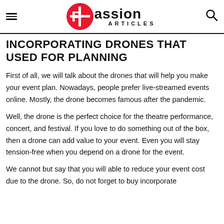Passion Articles
INCORPORATING DRONES THAT USED FOR PLANNING
First of all, we will talk about the drones that will help you make your event plan. Nowadays, people prefer live-streamed events online. Mostly, the drone becomes famous after the pandemic.
Well, the drone is the perfect choice for the theatre performance, concert, and festival. If you love to do something out of the box, then a drone can add value to your event. Even you will stay tension-free when you depend on a drone for the event.
We cannot but say that you will able to reduce your event cost due to the drone. So, do not forget to buy incorporate